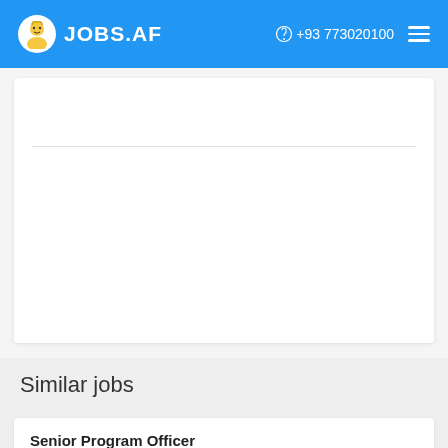JOBS.AF   +93 773020100
Similar jobs
Senior Program Officer
Islamic Relief Worldwide,  Afghanistan, Kabul